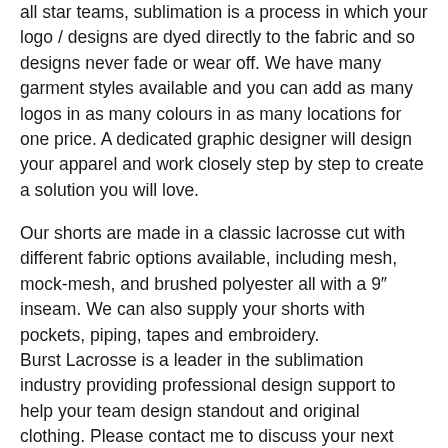all star teams, sublimation is a process in which your logo / designs are dyed directly to the fabric and so designs never fade or wear off. We have many garment styles available and you can add as many logos in as many colours in as many locations for one price. A dedicated graphic designer will design your apparel and work closely step by step to create a solution you will love.
Our shorts are made in a classic lacrosse cut with different fabric options available, including mesh, mock-mesh, and brushed polyester all with a 9" inseam. We can also supply your shorts with pockets, piping, tapes and embroidery.
Burst Lacrosse is a leader in the sublimation industry providing professional design support to help your team design standout and original clothing. Please contact me to discuss your next sports uniform order.